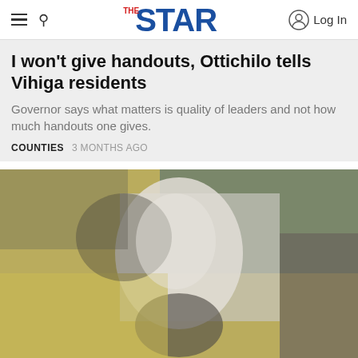THE STAR | Log In
I won't give handouts, Ottichilo tells Vihiga residents
Governor says what matters is quality of leaders and not how much handouts one gives.
COUNTIES   3 MONTHS AGO
[Figure (photo): Blurred outdoor photograph, likely showing a person or crowd scene, with a light-colored center subject and greenish-yellow and dark background tones.]